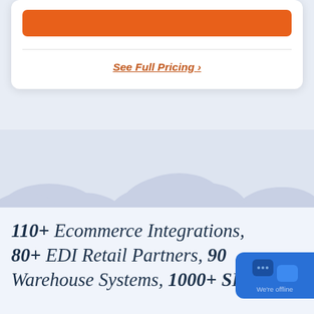See Full Pricing ›
[Figure (illustration): Decorative cloud shapes in light blue/lavender colors forming a landscape background]
110+ Ecommerce Integrations, 80+ EDI Retail Partners, 90 Warehouse Systems, 1000+ SKE